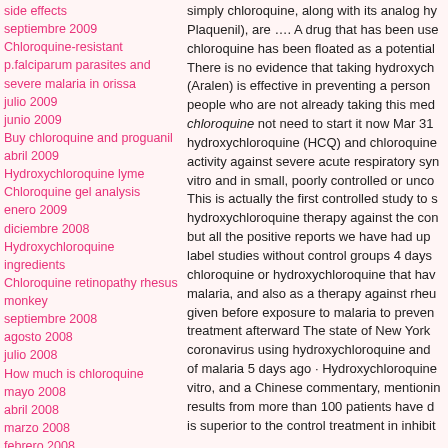side effects
septiembre 2009
Chloroquine-resistant
p.falciparum parasites and severe malaria in orissa
julio 2009
junio 2009
Buy chloroquine and proguanil
abril 2009
Hydroxychloroquine lyme
Chloroquine gel analysis
enero 2009
diciembre 2008
Hydroxychloroquine ingredients
Chloroquine retinopathy rhesus monkey
septiembre 2008
agosto 2008
julio 2008
How much is chloroquine
mayo 2008
abril 2008
marzo 2008
febrero 2008
enero 2008
Chloroquine effects birth control
Chloroquine sensitive areas
simply chloroquine, along with its analog hy Plaquenil), are …. A drug that has been use chloroquine has been floated as a potential There is no evidence that taking hydroxych (Aralen) is effective in preventing a person people who are not already taking this med chloroquine not need to start it now Mar 31 hydroxychloroquine (HCQ) and chloroquine activity against severe acute respiratory syn vitro and in small, poorly controlled or unco This is actually the first controlled study to s hydroxychloroquine therapy against the con but all the positive reports we have had up label studies without control groups 4 days chloroquine or hydroxychloroquine that hav malaria, and also as a therapy against rheu given before exposure to malaria to preven treatment afterward The state of New York coronavirus using hydroxychloroquine and of malaria 5 days ago · Hydroxychloroquine vitro, and a Chinese commentary, mentionin results from more than 100 patients have d is superior to the control treatment in inhibit